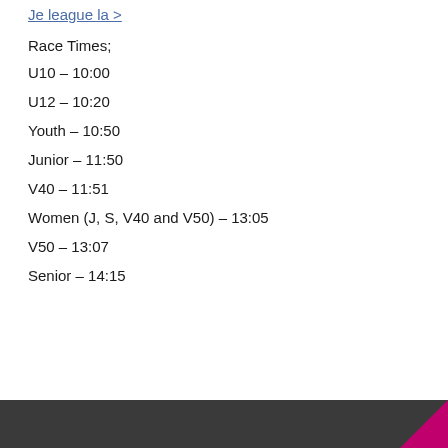Je league la >
Race Times;
U10 – 10:00
U12 – 10:20
Youth – 10:50
Junior – 11:50
V40 – 11:51
Women (J, S, V40 and V50) – 13:05
V50 – 13:07
Senior – 14:15